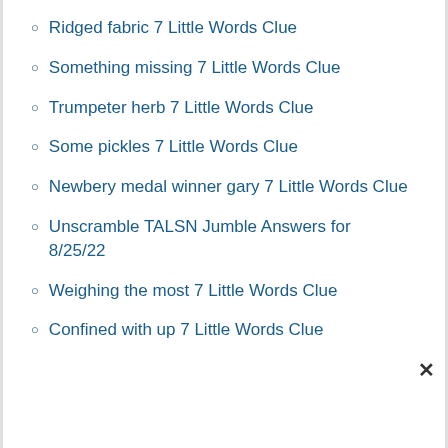Ridged fabric 7 Little Words Clue
Something missing 7 Little Words Clue
Trumpeter herb 7 Little Words Clue
Some pickles 7 Little Words Clue
Newbery medal winner gary 7 Little Words Clue
Unscramble TALSN Jumble Answers for 8/25/22
Weighing the most 7 Little Words Clue
Confined with up 7 Little Words Clue